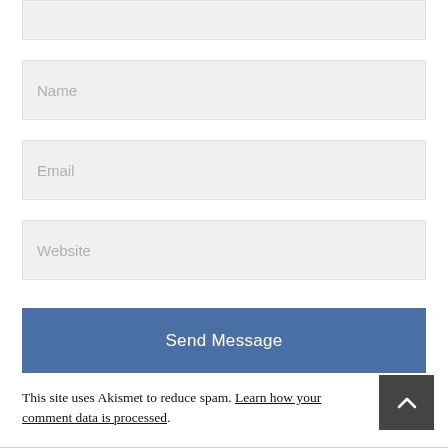Name
Email
Website
Send Message
This site uses Akismet to reduce spam. Learn how your comment data is processed.